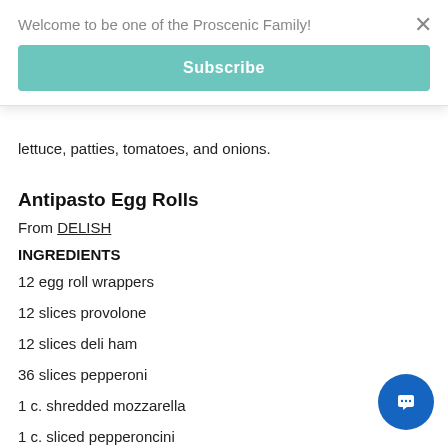Welcome to be one of the Proscenic Family!
Subscribe
lettuce, patties, tomatoes, and onions.
Antipasto Egg Rolls
From DELISH
INGREDIENTS
12 egg roll wrappers
12 slices provolone
12 slices deli ham
36 slices pepperoni
1 c. shredded mozzarella
1 c. sliced pepperoncini